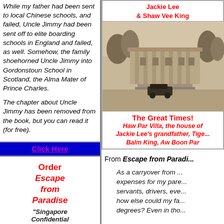While my father had been sent to local Chinese schools, and failed, Uncle Jimmy had been sent off to elite boarding schools in England and failed, as well. Somehow, the family shoehorned Uncle Jimmy into Gordonstoun School in Scotland, the Alma Mater of Prince Charles.

The chapter about Uncle Jimmy has been removed from the book, but you can read it (for free).
Click Here
Order Escape from Paradise "Singapore Confidential
Jackie Lee & Shaw Vee King
[Figure (photo): Sepia-toned historical photograph of Haw Par Villa, a large colonial-style building with columns and grounds, with a vintage car visible in the foreground.]
The Great Times! Haw Par Villa, the house of Jackie Lee's grandfather, Tiger Balm King, Aw Boon Par
From Escape from Paradi...
As a carryover from ... expenses for my pare... servants, drivers, eve... how else could my fa... degrees? Even in tho...